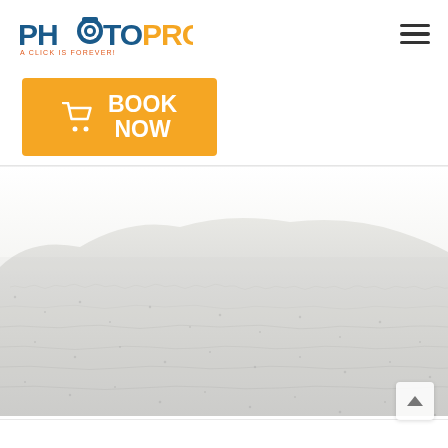[Figure (logo): PhotoPro logo with camera lens icon replacing the 'O' in PHOTO. 'PHOTO' in dark blue, 'PRO' in orange. Tagline: 'A CLICK IS FOREVER!' in red below.]
[Figure (other): Hamburger menu icon (three horizontal lines) in top right corner]
[Figure (other): Orange 'BOOK NOW' button with shopping cart icon on the left side]
[Figure (photo): Beach sand photograph showing a sandy shoreline with white/light grey sand texture filling the lower portion of the page]
[Figure (other): Scroll-to-top chevron button in bottom right corner]